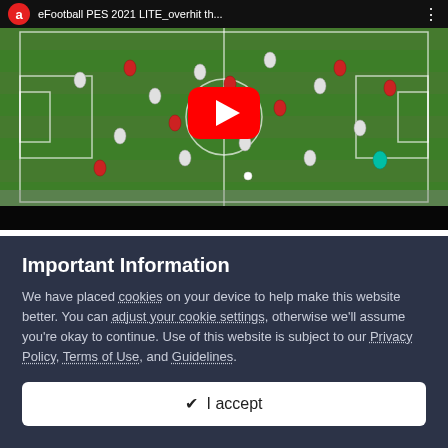[Figure (screenshot): YouTube video thumbnail showing eFootball PES 2021 LITE gameplay on a football/soccer field, with a large red YouTube play button in the center. The video bar at top shows a channel icon, the title 'eFootball PES 2021 LITE_overhit th...', and a menu dots icon.]
Important Information
We have placed cookies on your device to help make this website better. You can adjust your cookie settings, otherwise we'll assume you're okay to continue. Use of this website is subject to our Privacy Policy, Terms of Use, and Guidelines.
✔ I accept